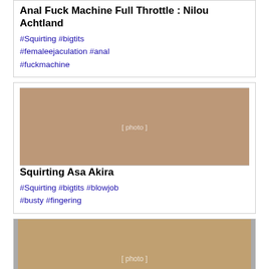Anal Fuck Machine Full Throttle : Nilou Achtland
#Squirting #bigtits #femaleejaculation #anal #fuckmachine
[Figure (photo): Thumbnail photo for Squirting Asa Akira video]
Squirting Asa Akira
#Squirting #bigtits #blowjob #busty #fingering
[Figure (photo): Thumbnail photo for Jayden Jaymes video]
Jayden Jaymes